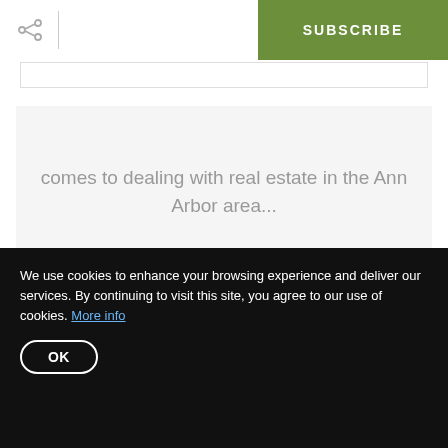SUBSCRIBE
comes to dealing with real estate in the Ann Arbor area...
Apr 29  |  2 minutes read
We use cookies to enhance your browsing experience and deliver our services. By continuing to visit this site, you agree to our use of cookies. More info
OK